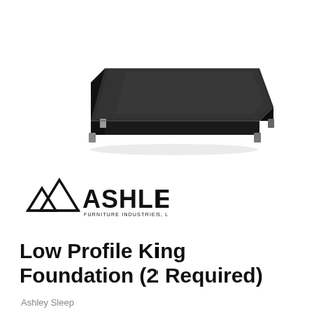[Figure (photo): A low profile black mattress foundation/box spring viewed from a slight overhead angle, showing metal corner legs at the bottom corners. The foundation is rectangular and flat with dark charcoal/black fabric covering.]
[Figure (logo): Ashley Furniture Industries, LLC logo — two mountain peak shapes in black followed by the word ASHLEY in large bold black letters, with 'FURNITURE INDUSTRIES, LLC' in smaller text below ASHLEY.]
Low Profile King Foundation (2 Required)
Ashley Sleep